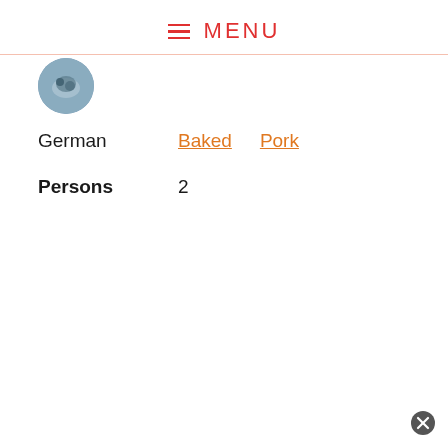≡ MENU
[Figure (photo): Circular avatar image showing a food dish]
German   Baked   Pork
Persons   2